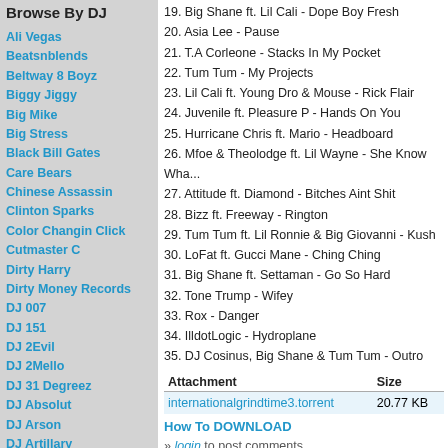Browse By DJ
Ali Vegas
Beatsnblends
Beltway 8 Boyz
Biggy Jiggy
Big Mike
Big Stress
Black Bill Gates
Care Bears
Chinese Assassin
Clinton Sparks
Color Changin Click
Cutmaster C
Dirty Harry
Dirty Money Records
DJ 007
DJ 151
DJ 2Evil
DJ 2Mello
DJ 31 Degreez
DJ Absolut
DJ Arson
DJ Artillary
DJ Bape
DJ Bedz
DJ Benzi
DJ Berocke
DJ Barry Bee
DJ BeyondReset
DJ Big Tobacco
DJ Biz
DJ Black Jesus
19. Big Shane ft. Lil Cali - Dope Boy Fresh
20. Asia Lee - Pause
21. T.A Corleone - Stacks In My Pocket
22. Tum Tum - My Projects
23. Lil Cali ft. Young Dro & Mouse - Rick Flair
24. Juvenile ft. Pleasure P - Hands On You
25. Hurricane Chris ft. Mario - Headboard
26. Mfoe & Theolodge ft. Lil Wayne - She Know Wha...
27. Attitude ft. Diamond - Bitches Aint Shit
28. Bizz ft. Freeway - Rington
29. Tum Tum ft. Lil Ronnie & Big Giovanni - Kush
30. LoFat ft. Gucci Mane - Ching Ching
31. Big Shane ft. Settaman - Go So Hard
32. Tone Trump - Wifey
33. Rox - Danger
34. IlldotLogic - Hydroplane
35. DJ Cosinus, Big Shane & Tum Tum - Outro
| Attachment | Size |
| --- | --- |
| internationalgrindtime3.torrent | 20.77 KB |
How To DOWNLOAD
» login to post comments
SIMILAR MIXTAPES:
DJ Cosinus - International Grindtime V.2 (Ho...